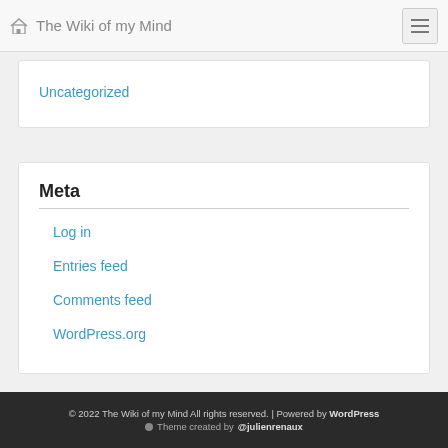The Wiki of my Mind
Uncategorized
Meta
Log in
Entries feed
Comments feed
WordPress.org
© 2022 The Wiki of my Mind All rights reserved. | Powered by WordPress  Theme created by @julienrenaux